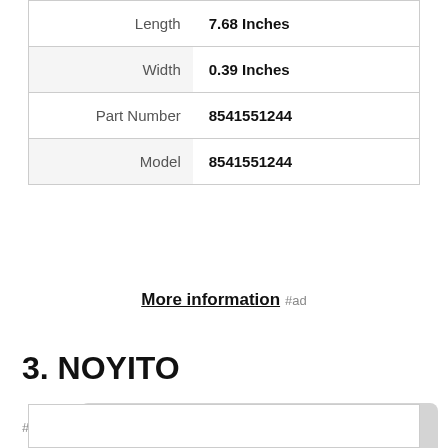| Length | 7.68 Inches |
| Width | 0.39 Inches |
| Part Number | 8541551244 |
| Model | 8541551244 |
More information #ad
3. NOYITO
#ad
As an Amazon Associate I earn from qualifying purchases. This website uses the only necessary cookies to ensure you get the best experience on our website. More information